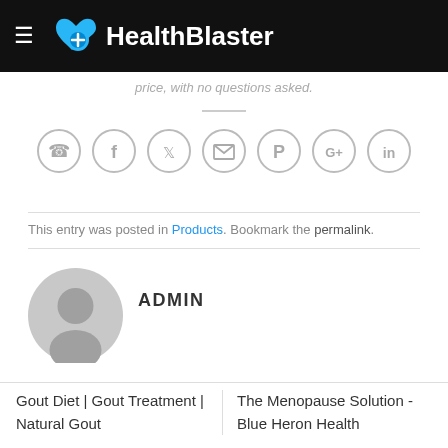HealthBlaster
price, with no questions asked.
[Figure (other): Row of social sharing icons: phone, Facebook, Twitter, email, Pinterest, Google+, LinkedIn — all circular outlined icons in light gray]
This entry was posted in Products. Bookmark the permalink.
[Figure (other): Gray circular avatar/profile placeholder icon]
ADMIN
Gout Diet | Gout Treatment | Natural Gout
The Menopause Solution - Blue Heron Health